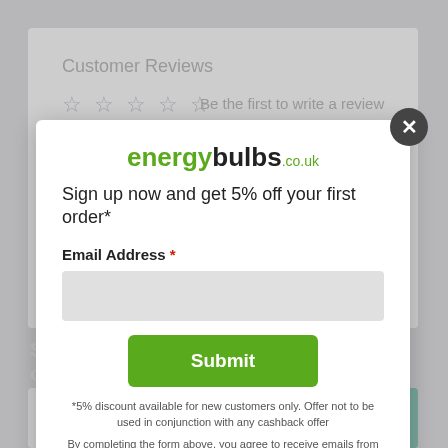[Figure (screenshot): Background webpage showing Customer Reviews section with star ratings and a newsletter subscription section with email input and Subscribe button]
[Figure (screenshot): Modal popup overlay with close button (X) in top right corner]
[Figure (logo): energybulbs.co.uk logo in green and black text]
Sign up now and get 5% off your first order*
Email Address *
Submit
*5% discount available for new customers only. Offer not to be used in conjunction with any cashback offer
By completing the form above, you agree to receive emails from us. You can unsubscribe at any time